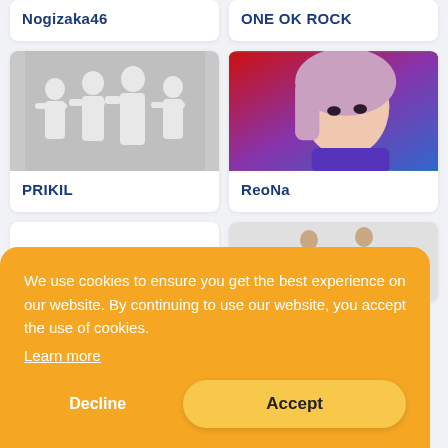Nogizaka46
ONE OK ROCK
[Figure (photo): Gray silhouette placeholder image of a band group]
PRIKIL
[Figure (photo): Photo of ReoNa, a Japanese artist with pinkish-purple hair against red and purple background]
ReoNa
[Figure (photo): Partial photo of two people in white suits at bottom right]
We use cookies to ensure you get the best experience on our website. By continuing to use our website, you accept the use of cookies.
Learn more
Decline
Accept